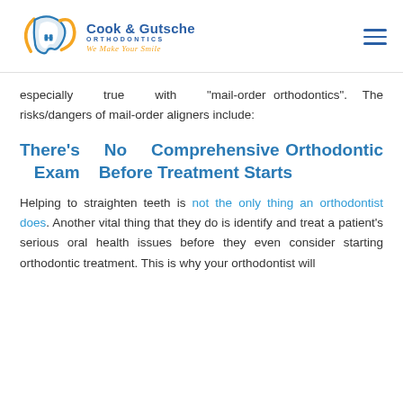Cook & Gutsche ORTHODONTICS — We Make Your Smile
especially true with "mail-order orthodontics". The risks/dangers of mail-order aligners include:
There's No Comprehensive Orthodontic Exam Before Treatment Starts
Helping to straighten teeth is not the only thing an orthodontist does. Another vital thing that they do is identify and treat a patient's serious oral health issues before they even consider starting orthodontic treatment. This is why your orthodontist will